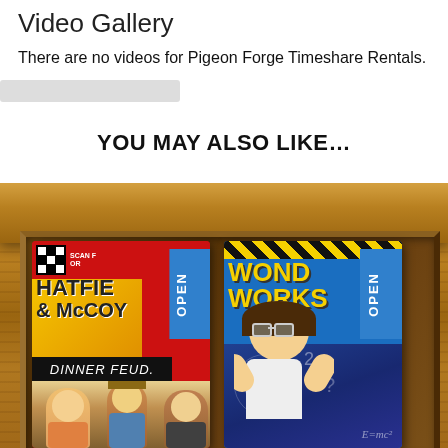Video Gallery
There are no videos for Pigeon Forge Timeshare Rentals.
YOU MAY ALSO LIKE…
[Figure (photo): Hatfield & McCoy Dinner Feud promotional brochure card with OPEN ribbon, showing performers in costume]
[Figure (photo): WonderWorks promotional brochure card with OPEN ribbon, showing a child with science imagery]